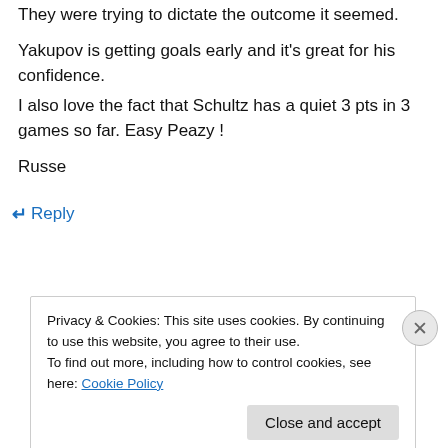They were trying to dictate the outcome it seemed.
Yakupov is getting goals early and it's great for his confidence.
I also love the fact that Schultz has a quiet 3 pts in 3 games so far. Easy Peazy !
Russe
↵ Reply
Privacy & Cookies: This site uses cookies. By continuing to use this website, you agree to their use. To find out more, including how to control cookies, see here: Cookie Policy